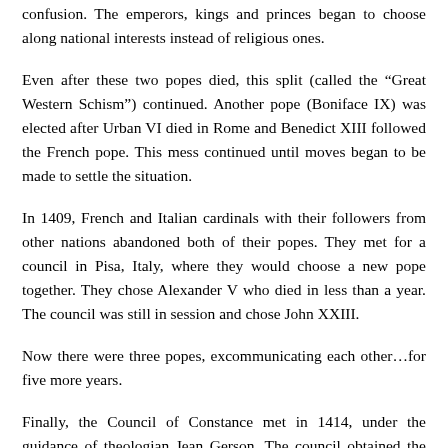confusion. The emperors, kings and princes began to choose along national interests instead of religious ones.
Even after these two popes died, this split (called the “Great Western Schism”) continued. Another pope (Boniface IX) was elected after Urban VI died in Rome and Benedict XIII followed the French pope. This mess continued until moves began to be made to settle the situation.
In 1409, French and Italian cardinals with their followers from other nations abandoned both of their popes. They met for a council in Pisa, Italy, where they would choose a new pope together. They chose Alexander V who died in less than a year. The council was still in session and chose John XXIII.
Now there were three popes, excommunicating each other…for five more years.
Finally, the Council of Constance met in 1414, under the guidance of theologian Jean Gerson. The council obtained the resignations of John XXIII and Gregory XII of Rome. The council elected Martin V in 1415 who was recognized as legitimate by most every nation, except for Aragon